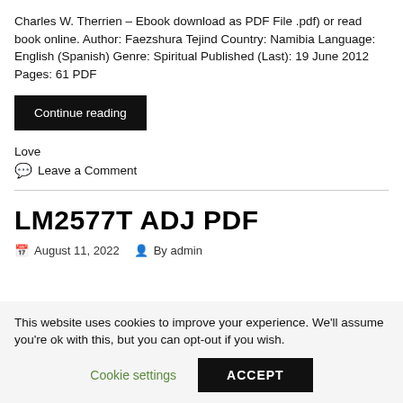Charles W. Therrien – Ebook download as PDF File .pdf) or read book online. Author: Faezshura Tejind Country: Namibia Language: English (Spanish) Genre: Spiritual Published (Last): 19 June 2012 Pages: 61 PDF
Continue reading
Love
Leave a Comment
LM2577T ADJ PDF
August 11, 2022  By admin
This website uses cookies to improve your experience. We'll assume you're ok with this, but you can opt-out if you wish.
Cookie settings
ACCEPT